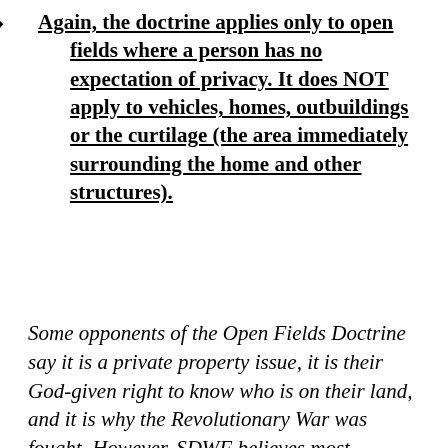Again, the doctrine applies only to open fields where a person has no expectation of privacy. It does NOT apply to vehicles, homes, outbuildings or the curtilage (the area immediately surrounding the home and other structures).
Some opponents of the Open Fields Doctrine say it is a private property issue, it is their God-given right to know who is on their land, and it is why the Revolutionary War was fought. However, SDWF believes most landowners welcome checks by conservation officers. They know the only way to ensure proper